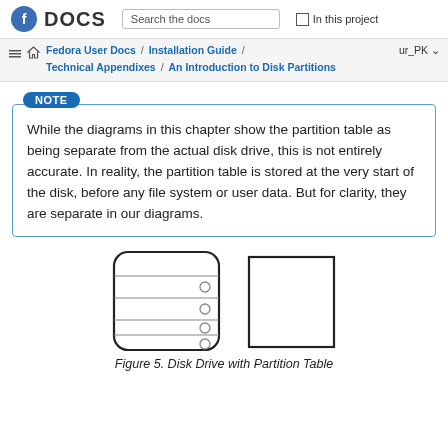Fedora DOCS | Search the docs | In this project
Fedora User Docs / Installation Guide / Technical Appendixes / An Introduction to Disk Partitions  ur_PK
NOTE
While the diagrams in this chapter show the partition table as being separate from the actual disk drive, this is not entirely accurate. In reality, the partition table is stored at the very start of the disk, before any file system or user data. But for clarity, they are separate in our diagrams.
[Figure (illustration): Diagram showing a disk drive icon (rounded rectangle with horizontal lines and small circles on the right side) next to a partition table icon (plain rectangle), representing a disk drive with a partition table.]
Figure 5. Disk Drive with Partition Table